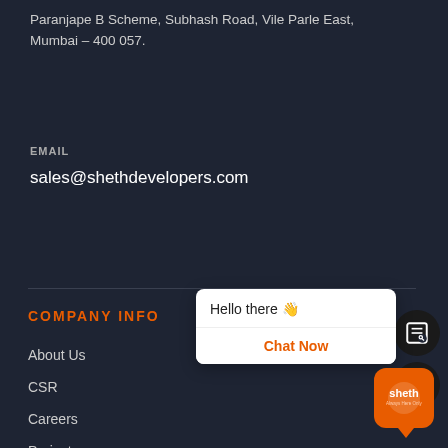Paranjape B Scheme, Subhash Road, Vile Parle East, Mumbai – 400 057.
EMAIL
sales@shethdevelopers.com
[Figure (infographic): Social media icons: Facebook, Twitter, Instagram, LinkedIn, YouTube]
COMPANY INFO
About Us
CSR
Careers
Projects
[Figure (screenshot): Chat widget with 'Hello there 👋' message and 'Chat Now' button in orange]
[Figure (logo): Sheth Developers orange square badge logo with triangle pointer]